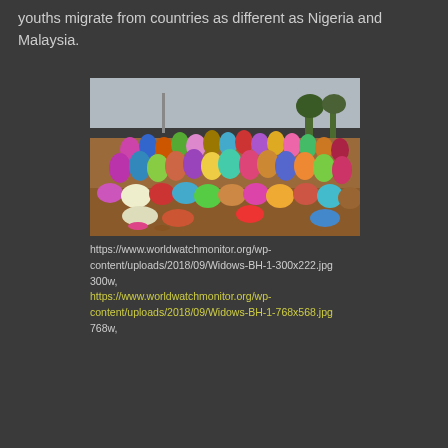youths migrate from countries as different as Nigeria and Malaysia.
[Figure (photo): Large crowd of women in colourful clothing and headscarves gathered outdoors on red-earth ground, with overcast sky and sparse trees in the background.]
https://www.worldwatchmonitor.org/wp-content/uploads/2018/09/Widows-BH-1-300x222.jpg 300w, https://www.worldwatchmonitor.org/wp-content/uploads/2018/09/Widows-BH-1-768x568.jpg 768w,